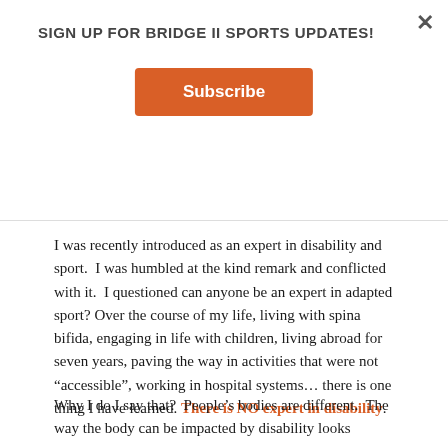SIGN UP FOR BRIDGE II SPORTS UPDATES!
Subscribe
[Figure (photo): Photo strip showing a gym floor with BRIDGE II SPORTS text/logo visible]
I was recently introduced as an expert in disability and sport.  I was humbled at the kind remark and conflicted with it.  I questioned can anyone be an expert in adapted sport? Over the course of my life, living with spina bifida, engaging in life with children, living abroad for seven years, paving the way in activities that were not “accessible”, working in hospital systems… there is one thing I have learned. There is NO expert in disability.
Why I do I say that?  People’s bodies are different.  The way the body can be impacted by disability looks